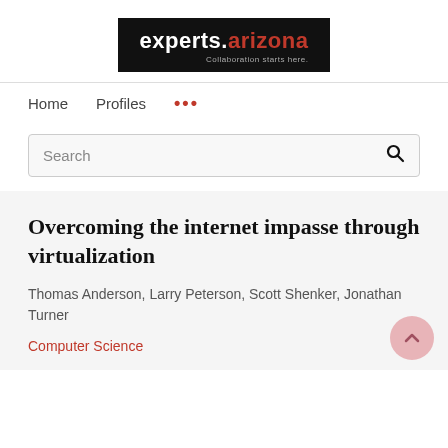[Figure (logo): experts.arizona logo — white text on black background with tagline 'Collaboration starts here.']
Home   Profiles   ...
Search
Overcoming the internet impasse through virtualization
Thomas Anderson, Larry Peterson, Scott Shenker, Jonathan Turner
Computer Science